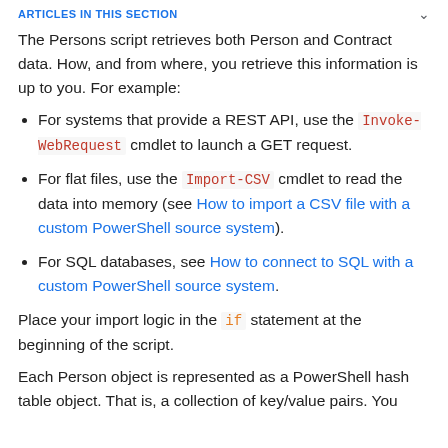ARTICLES IN THIS SECTION
The Persons script retrieves both Person and Contract data. How, and from where, you retrieve this information is up to you. For example:
For systems that provide a REST API, use the Invoke-WebRequest cmdlet to launch a GET request.
For flat files, use the Import-CSV cmdlet to read the data into memory (see How to import a CSV file with a custom PowerShell source system).
For SQL databases, see How to connect to SQL with a custom PowerShell source system.
Place your import logic in the if statement at the beginning of the script.
Each Person object is represented as a PowerShell hash table object. That is, a collection of key/value pairs. You